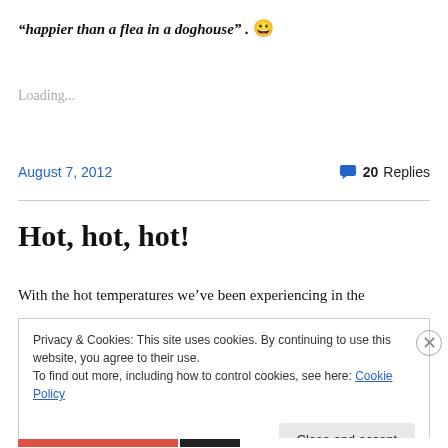“happier than a flea in a doghouse” . 😃
Loading...
August 7, 2012
20 Replies
Hot, hot, hot!
With the hot temperatures we’ve been experiencing in the
Privacy & Cookies: This site uses cookies. By continuing to use this website, you agree to their use.
To find out more, including how to control cookies, see here: Cookie Policy
Close and accept